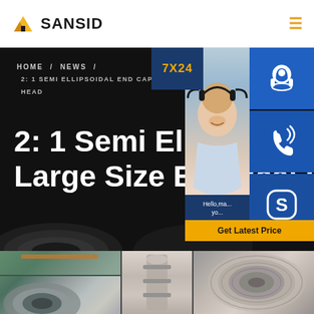[Figure (logo): SANSID company logo with orange/yellow building icon and bold text]
[Figure (screenshot): Website navigation header banner with dark background showing breadcrumb navigation HOME / NEWS / and page title '2: 1 Semi Ellipsoidal End Caps Large Size Elliptical Head' with customer service overlay panel on the right showing 7X24 support, phone, Skype icons, and Get Latest Price button]
[Figure (photo): Three industrial photos showing ellipsoidal end caps and pressure vessel heads in a factory setting]